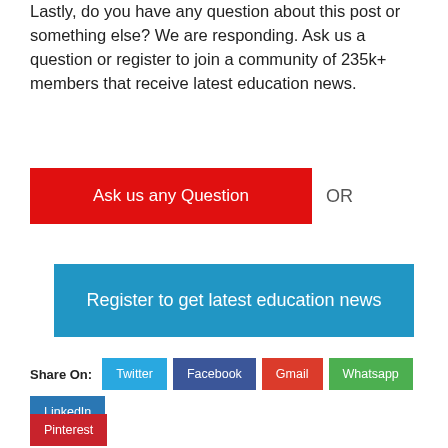Lastly, do you have any question about this post or something else? We are responding. Ask us a question or register to join a community of 235k+ members that receive latest education news.
[Figure (other): Red button labeled 'Ask us any Question' with 'OR' text beside it]
[Figure (other): Blue button labeled 'Register to get latest education news']
Share On: Twitter | Facebook | Gmail | Whatsapp | LinkedIn | Pinterest